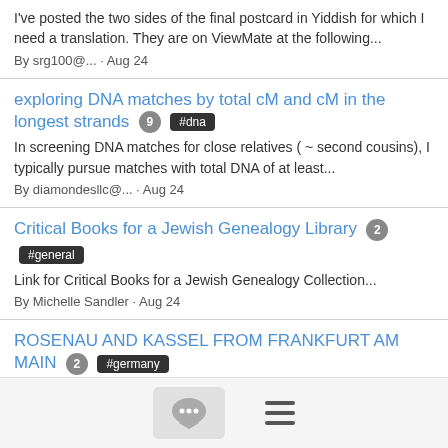I've posted the two sides of the final postcard in Yiddish for which I need a translation. They are on ViewMate at the following...
By srg100@... · Aug 24
exploring DNA matches by total cM and cM in the longest strands 9 #dna
In screening DNA matches for close relatives ( ~ second cousins), I typically pursue matches with total DNA of at least...
By diamondesllc@... · Aug 24
Critical Books for a Jewish Genealogy Library 2 #general
Link for Critical Books for a Jewish Genealogy Collection...
By Michelle Sandler · Aug 24
ROSENAU AND KASSEL FROM FRANKFURT AM MAIN 2 #germany
Greta Kassel was my grandfather's sister. SHe married Phillippe Rosenau circa 1902 and they moved to Bad Kissingen, where...